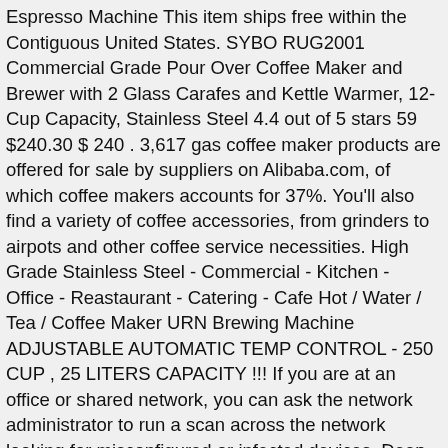Espresso Machine This item ships free within the Contiguous United States. SYBO RUG2001 Commercial Grade Pour Over Coffee Maker and Brewer with 2 Glass Carafes and Kettle Warmer, 12-Cup Capacity, Stainless Steel 4.4 out of 5 stars 59 $240.30 $ 240 . 3,617 gas coffee maker products are offered for sale by suppliers on Alibaba.com, of which coffee makers accounts for 37%. You'll also find a variety of coffee accessories, from grinders to airpots and other coffee service necessities. High Grade Stainless Steel - Commercial - Kitchen - Office - Reastaurant - Catering - Cafe Hot / Water / Tea / Coffee Maker URN Brewing Machine ADJUSTABLE AUTOMATIC TEMP CONTROL - 250 CUP , 25 LITERS CAPACITY !!! If you are at an office or shared network, you can ask the network administrator to run a scan across the network looking for misconfigured or infected devices. Deep-washing your commercial Bunn coffee machine on occasion is a crucial part of keeping it running smoothly. Coffee Machine Depot USA sells America's largest range of Used Commercial Espresso Machines. The Coleman coffeemaker works but When adding a new thing which have you want to help you are